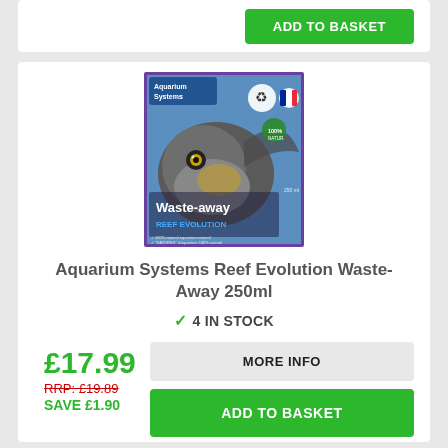[Figure (other): Green ADD TO BASKET button at top of page]
[Figure (photo): Product image of Aquarium Systems Reef Evolution Waste-Away 250ml — showing a fish on the label with purple border and blue background, brand logo top left, text 'Waste-away REEF EVOLUTION' on label]
Aquarium Systems Reef Evolution Waste-Away 250ml
✓ 4 IN STOCK
£17.99
RRP: £19.89
SAVE £1.90
MORE INFO
ADD TO BASKET